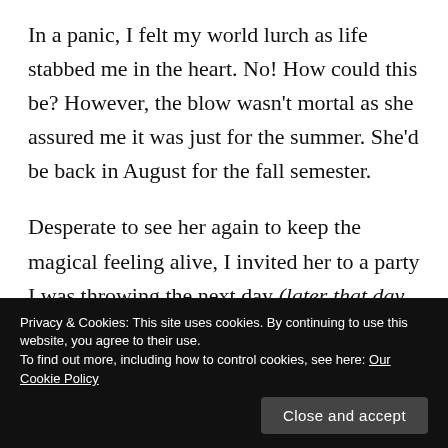In a panic, I felt my world lurch as life stabbed me in the heart. No! How could this be? However, the blow wasn't mortal as she assured me it was just for the summer. She'd be back in August for the fall semester.
Desperate to see her again to keep the magical feeling alive, I invited her to a party I was throwing the next day (later that day, I suppose), and she said she'd come if she could, but she didn't think it likely because she
Privacy & Cookies: This site uses cookies. By continuing to use this website, you agree to their use.
To find out more, including how to control cookies, see here: Our Cookie Policy